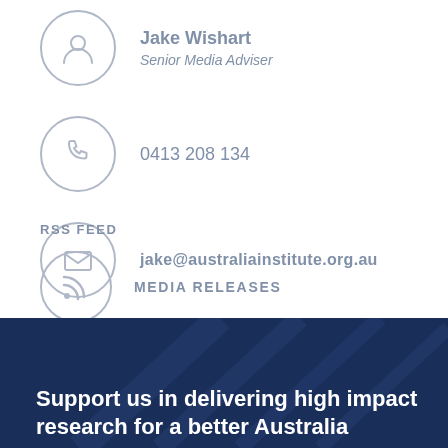Jake Wishart
Senior Media Adviser
0413 208 134
jake@australiainstitute.org.au
RSS FEED
MEDIA RELEASES
Support us in delivering high impact research for a better Australia